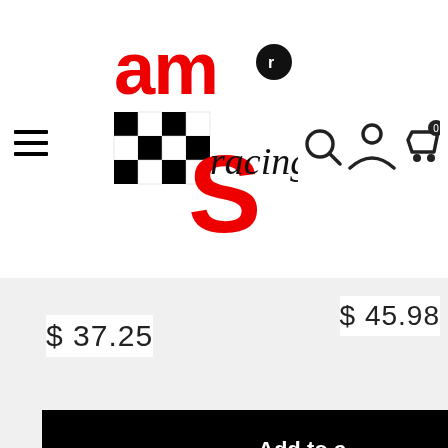[Figure (logo): AMS Racing logo with red bold lettering 'am' above a checkered flag pattern with red letter 'S' and 'racing' text in cursive]
$ 37.25
Add to cart
$ 45.98
Add to c...
[Figure (illustration): Line-art icon of a shipping box/package]
Free Shipping on Qualified Orders
Within the Continental US